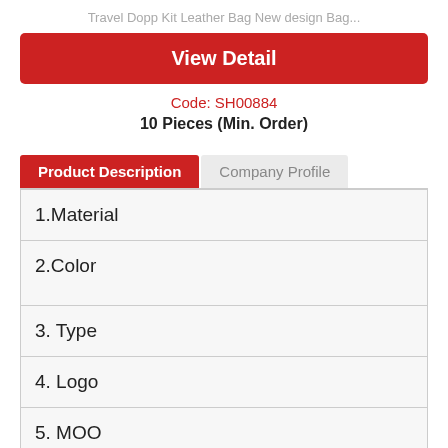Travel Dopp Kit Leather Bag New design Bag...
View Detail
Code: SH00884
10 Pieces (Min. Order)
Product Description
Company Profile
| 1.Material |
| 2.Color |
| 3. Type |
| 4. Logo |
| 5. MOO |